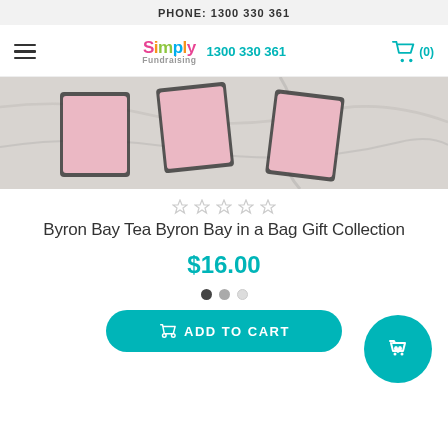PHONE: 1300 330 361
[Figure (screenshot): Simply Fundraising logo with colorful letters and phone number 1300 330 361, hamburger menu icon, and shopping cart icon with (0)]
[Figure (photo): Product photo showing Byron Bay Tea packets on a white marble surface]
[Figure (other): 5 empty star rating icons]
Byron Bay Tea Byron Bay in a Bag Gift Collection
$16.00
[Figure (other): 3 pagination dots: dark, medium grey, light grey]
ADD TO CART
[Figure (other): Teal circular floating action button with shopping bag and heart icon]